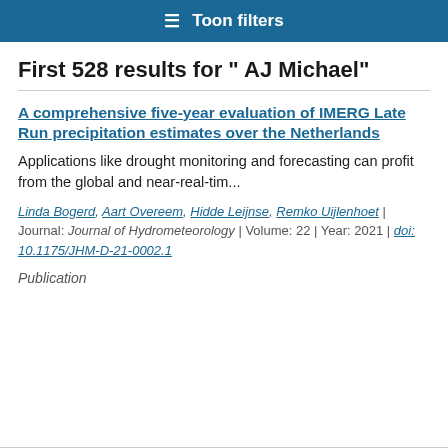Toon filters
First 528 results for " AJ Michael"
A comprehensive five-year evaluation of IMERG Late Run precipitation estimates over the Netherlands
Applications like drought monitoring and forecasting can profit from the global and near-real-tim...
Linda Bogerd, Aart Overeem, Hidde Leijnse, Remko Uijlenhoet | Journal: Journal of Hydrometeorology | Volume: 22 | Year: 2021 | doi: 10.1175/JHM-D-21-0002.1
Publication